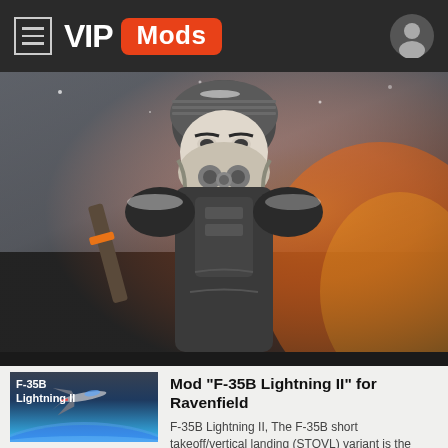VIP Mods
[Figure (photo): Hero image: a soldier in tactical winter gear with gas mask and weapons, with fire/explosion in background]
[Figure (photo): Thumbnail image of F-35B Lightning II jet aircraft flying over Earth]
Mod "F-35B Lightning II" for Ravenfield
F-35B Lightning II, The F-35B short takeoff/vertical landing (STOVL) variant is the world's first